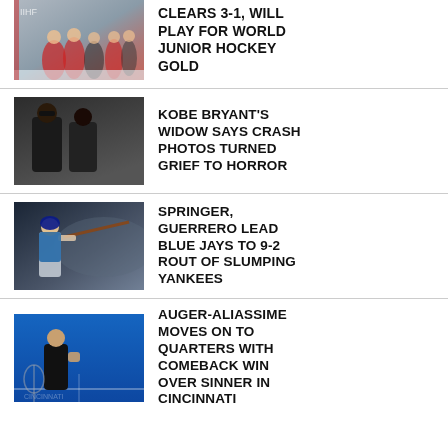[Figure (photo): Ice hockey players in team jerseys on the ice, referee in background]
CLEARS 3-1, WILL PLAY FOR WORLD JUNIOR HOCKEY GOLD
[Figure (photo): Two women dressed in black, one wearing sunglasses]
KOBE BRYANT'S WIDOW SAYS CRASH PHOTOS TURNED GRIEF TO HORROR
[Figure (photo): Baseball player swinging bat at night game]
SPRINGER, GUERRERO LEAD BLUE JAYS TO 9-2 ROUT OF SLUMPING YANKEES
[Figure (photo): Tennis player celebrating on a blue hard court]
AUGER-ALIASSIME MOVES ON TO QUARTERS WITH COMEBACK WIN OVER SINNER IN CINCINNATI